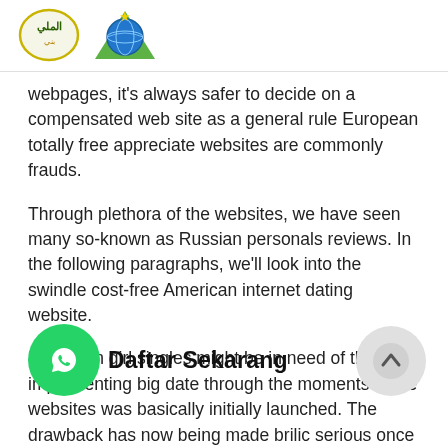Logo: Arabic text logo and Globe logo
webpages, it's always safer to decide on a compensated web site as a general rule European totally free appreciate websites are commonly frauds.
Through plethora of the websites, we have seen many so-known as Russian personals reviews. In the following paragraphs, we'll look into the swindle cost-free American internet dating website.
European girl singles might be in need of their implementing big date through the moments these websites was basically initially launched. The drawback has now being made brilic serious once you notice an online European individual relationships overview where some girls gallery up